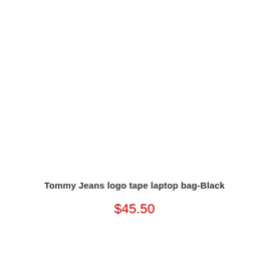Tommy Jeans logo tape laptop bag-Black
$45.50